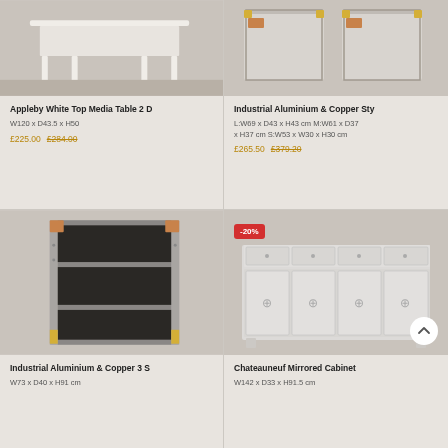[Figure (photo): White ornate media table on wooden floor - top portion visible]
Appleby White Top Media Table 2 D
W120 x D43.5 x H50
£225.00  £284.00
[Figure (photo): Industrial aluminium and copper style storage boxes/trunks - top portion visible]
Industrial Aluminium & Copper Sty
L:W69 x D43 x H43 cm M:W61 x D37 x H37 cm S:W53 x W30 x H30 cm
£265.50  £379.20
[Figure (photo): Industrial aluminium and copper 3-shelf bookcase unit with riveted metal exterior and open shelving]
Industrial Aluminium & Copper 3 S
W73 x D40 x H91 cm
[Figure (photo): Chateauneuf mirrored cabinet with 4 drawers and 4 doors, white/silver finish, -20% discount badge]
Chateauneuf Mirrored Cabinet
W142 x D33 x H91.5 cm